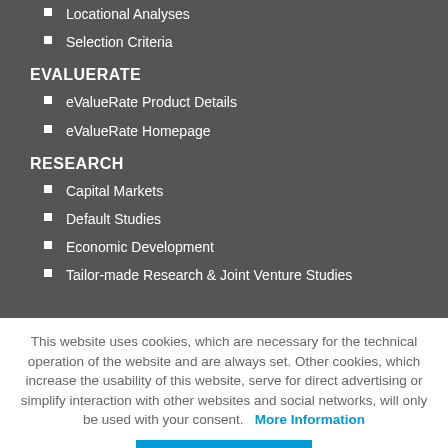Locational Analyses
Selection Criteria
EVALUERATE
eValueRate Product Details
eValueRate Homepage
RESEARCH
Capital Markets
Default Studies
Economic Development
Tailor-made Research & Joint Venture Studies
This website uses cookies, which are necessary for the technical operation of the website and are always set. Other cookies, which increase the usability of this website, serve for direct advertising or simplify interaction with other websites and social networks, will only be used with your consent. More Information
Accept